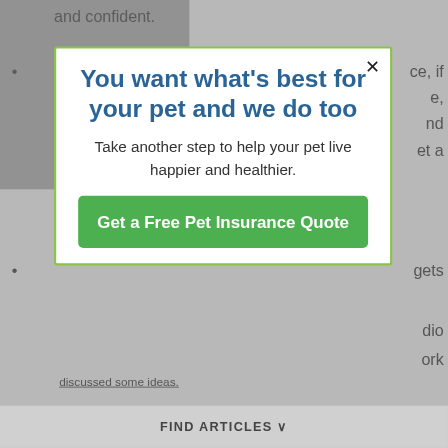and confident.
…ce, if …e, …nd …et a
…gets …dio …ork
[Figure (screenshot): Modal popup with green border on a greyed-out background. Contains title 'You want what’s best for your pet and we do too', body text 'Take another step to help your pet live happier and healthier.', and a green CTA button 'Get a Free Pet Insurance Quote'. Close X button in top right corner.]
FIND ARTICLES ∨